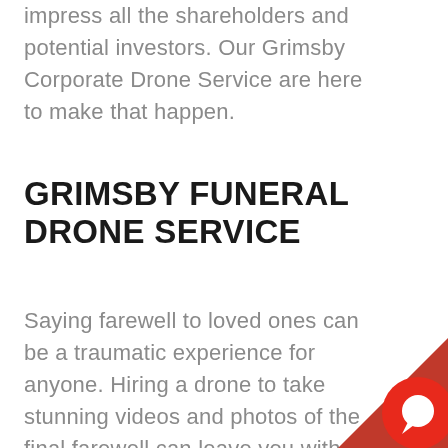impress all the shareholders and potential investors. Our Grimsby Corporate Drone Service are here to make that happen.
GRIMSBY FUNERAL DRONE SERVICE
Saying farewell to loved ones can be a traumatic experience for anyone. Hiring a drone to take stunning videos and photos of the final farewell can leave you with memories to remember. Using drones in Grimsby to